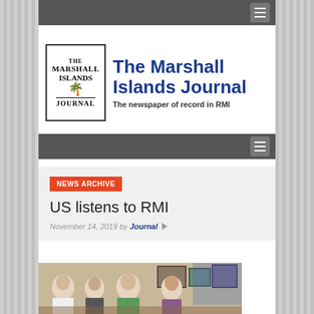[Figure (screenshot): Top navigation bar with dark gray background and hamburger menu icon on the right]
[Figure (logo): The Marshall Islands Journal logo: boxed text logo on left with palm tree illustration, and large bold blue text 'The Marshall Islands Journal' with tagline 'The newspaper of record in RMI']
[Figure (screenshot): Second navigation bar with dark gray background and hamburger menu icon on the right]
NEWS ARCHIVE
US listens to RMI
November 14, 2019 by Journal
[Figure (photo): Group photo of several people standing together, appears to be officials or delegates]